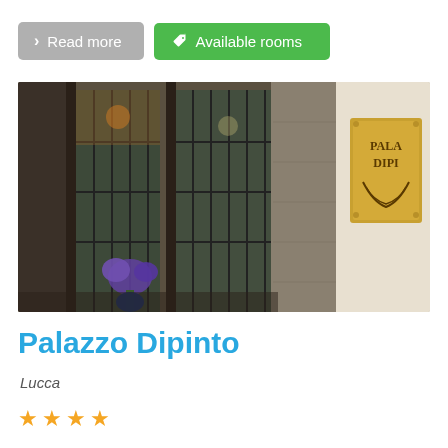Read more
Available rooms
[Figure (photo): Exterior entrance of Palazzo Dipinto hotel in Lucca, showing glass-paneled doors, stone column, purple flower arrangement inside, and a gold brass nameplate on the wall reading PALAZZO DIPINTO]
Palazzo Dipinto
Lucca
★★★★